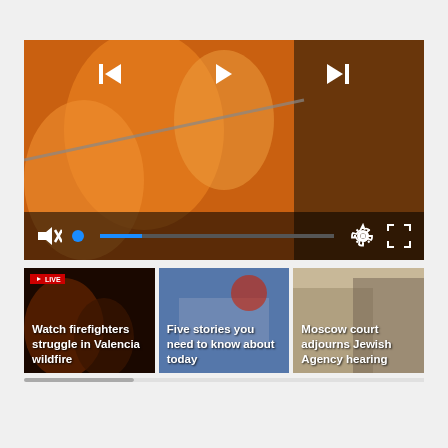[Figure (screenshot): Video player showing wildfire footage with firefighter. Controls: skip-back, play, skip-forward buttons at top; mute, progress bar, settings, fullscreen at bottom.]
[Figure (screenshot): Thumbnail strip of three video thumbnails: 'Watch firefighters struggle in Valencia wildfire', 'Five stories you need to know about today', 'Moscow court adjourns Jewish Agency hearing']
Watch firefighters struggle in Valencia wildfire
Five stories you need to know about today
Moscow court adjourns Jewish Agency hearing
Newsletter | Sent every weekday.
Reuters Daily Briefing
Feedback